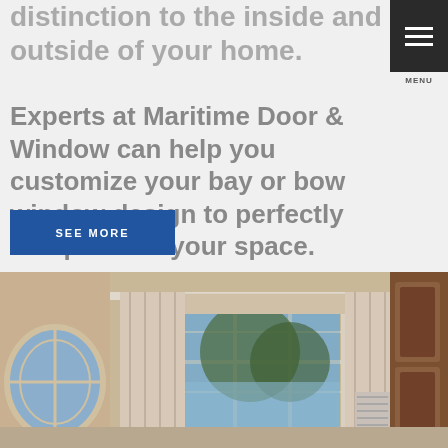distinction to the inside and outside of your home.
MENU
Experts at Maritime Door & Window can help you customize your bay or bow window design to perfectly complement your space.
SEE MORE
[Figure (photo): Interior room with bay window, oval window, curtains, and wooden armoire]